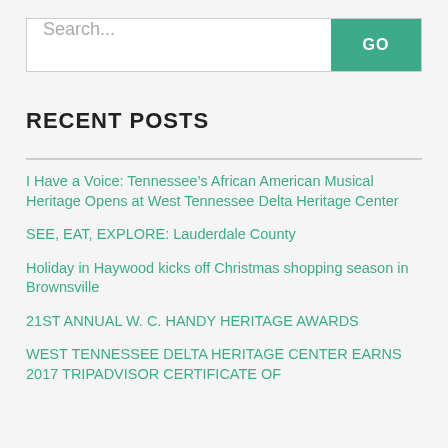[Figure (screenshot): Search bar with text input field and green GO button]
RECENT POSTS
I Have a Voice: Tennessee’s African American Musical Heritage Opens at West Tennessee Delta Heritage Center
SEE, EAT, EXPLORE: Lauderdale County
Holiday in Haywood kicks off Christmas shopping season in Brownsville
21ST ANNUAL W. C. HANDY HERITAGE AWARDS
WEST TENNESSEE DELTA HERITAGE CENTER EARNS 2017 TRIPADVISOR CERTIFICATE OF